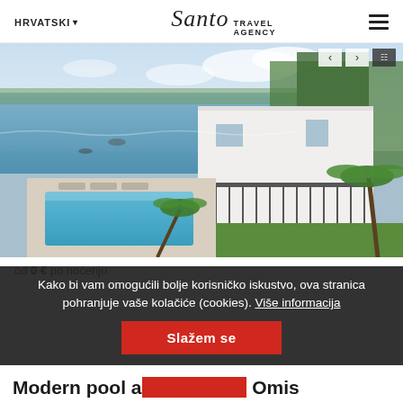HRVATSKI | Santo Travel Agency
[Figure (photo): Aerial view of a modern white villa with a swimming pool, terraces with lounge chairs, green lawn, palm trees, and the Adriatic sea in the background with boats moored near the coast.]
od 0 € po noćenju
Kako bi vam omogućili bolje korisničko iskustvo, ova stranica pohranjuje vaše kolačiće (cookies). Više informacija
Slažem se
Modern pool a... Omis